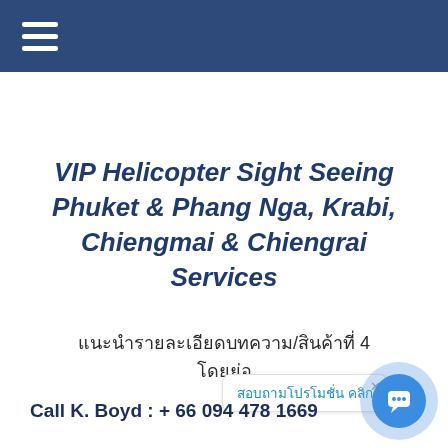VIP Helicopter Sight Seeing Phuket & Phang Nga, Krabi, Chiengmai & Chiengrai Services
แนะนำรายละเอียดบทความ/สินค้าที่ 4 โดยย่อ
สอบถามโปรโมชั่น คลิก
Call K. Boyd : + 66 094 478 1669